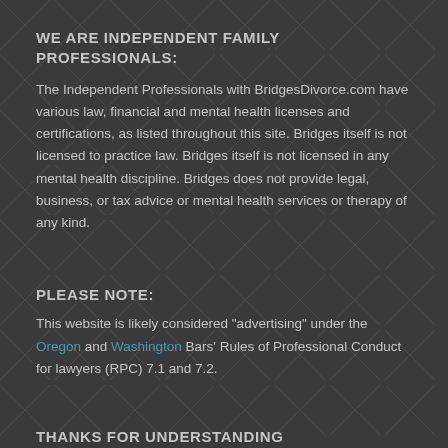WE ARE INDEPENDENT FAMILY PROFESSIONALS:
The Independent Professionals with BridgesDivorce.com have various law, financial and mental health licenses and certifications, as listed throughout this site. Bridges itself is not licensed to practice law. Bridges itself is not licensed in any mental health discipline. Bridges does not provide legal, business, or tax advice or mental health services or therapy of any kind.
PLEASE NOTE:
This website is likely considered "advertising" under the Oregon and Washington Bars' Rules of Professional Conduct for lawyers (RPC) 7.1 and 7.2.
THANKS FOR UNDERSTANDING